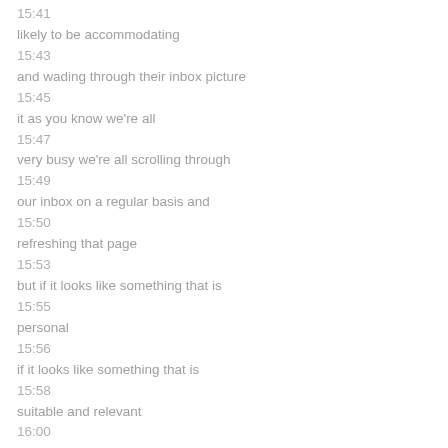15:41
likely to be accommodating
15:43
and wading through their inbox picture
15:45
it as you know we're all
15:47
very busy we're all scrolling through
15:49
our inbox on a regular basis and
15:50
refreshing that page
15:53
but if it looks like something that is
15:55
personal
15:56
if it looks like something that is
15:58
suitable and relevant
16:00